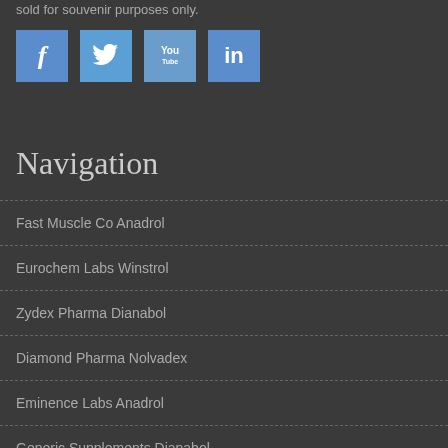sold for souvenir purposes only.
[Figure (illustration): Social media icons: Facebook, Twitter, YouTube, LinkedIn]
Navigation
Fast Muscle Co Anadrol
Eurochem Labs Winstrol
Zydex Pharma Dianabol
Diamond Pharma Nolvadex
Eminence Labs Anadrol
Generic Supplements Dianabol